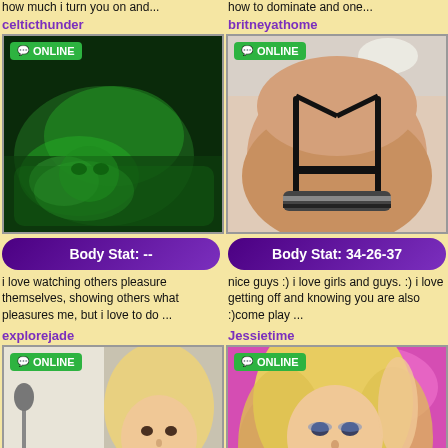how much i turn you on and...
celticthunder
[Figure (photo): Green-tinted night vision photo of person lying in bed]
Body Stat: --
i love watching others pleasure themselves, showing others what pleasures me, but i love to do ...
explorejade
[Figure (photo): Blonde woman posing, looking at camera]
how to dominate and one...
britneyathome
[Figure (photo): Woman in black lingerie from behind]
Body Stat: 34-26-37
nice guys :) i love girls and guys. :) i love getting off and knowing you are also :)come play ...
Jessietime
[Figure (photo): Blonde woman against pink background]